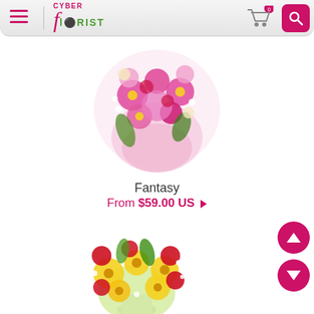[Figure (screenshot): Cyber Florist website header with hamburger menu, logo, cart icon with 0 badge, and pink search button]
[Figure (photo): Pink and red flower bouquet (Fantasy) with daisies, carnations, and roses on white background]
Fantasy
From $59.00 US ▶
[Figure (photo): Yellow and red flower bouquet with daisies, roses, and lilies in white vase on white background]
[Figure (other): Pink circular scroll up button with up arrow]
[Figure (other): Pink circular scroll down button with down arrow]